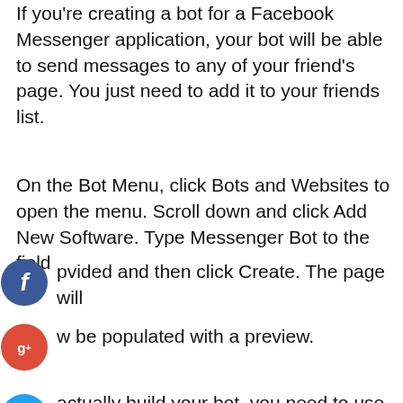If you're creating a bot for a Facebook Messenger application, your bot will be able to send messages to any of your friend's page. You just need to add it to your friends list.
On the Bot Menu, click Bots and Websites to open the menu. Scroll down and click Add New Software. Type Messenger Bot to the field provided and then click Create. The page will now be populated with a preview.
actually build your bot, you need to use a tool called ChatBuilder on Facebook. First, you need to find a chat bot you want to install on Facebook. The ChatBuilder tool is accessible from the Facebook page. Facebook Groups...